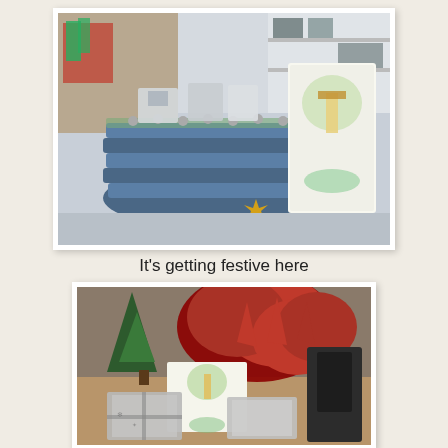[Figure (photo): A woven denim basket filled with wrapped gifts and small packages, with a gold star ornament, next to a watercolor greeting card featuring a lighthouse or tower scene, set on a table in what appears to be a craft or office room.]
It's getting festive here
[Figure (photo): A desk with a red poinsettia plant, a small evergreen tree, a watercolor greeting card, and several wrapped gifts in silver/metallic packaging.]